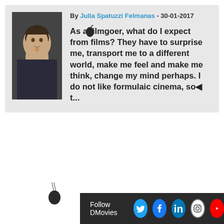By Julia Spatuzzi Felmanas - 30-01-2017
As a filmgoer, what do I expect from films? They have to surprise me, transport me to a different world, make me feel and make me think, change my mind perhaps. I do not like formulaic cinema, so t...
[Figure (photo): Portrait photo of author Julia Spatuzzi Felmanas]
Follow DMovies [Twitter] [Facebook] [LinkedIn] [Instagram] [YouTube]